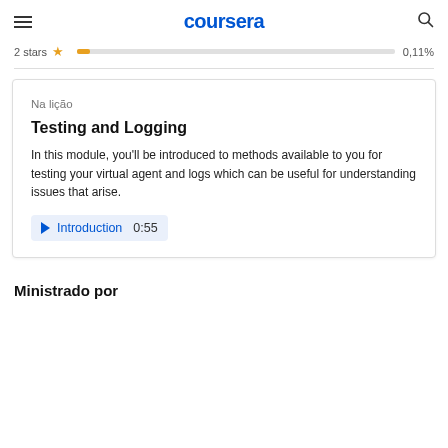coursera
2 stars  0,11%
Na lição
Testing and Logging
In this module, you'll be introduced to methods available to you for testing your virtual agent and logs which can be useful for understanding issues that arise.
Introduction  0:55
Ministrado por